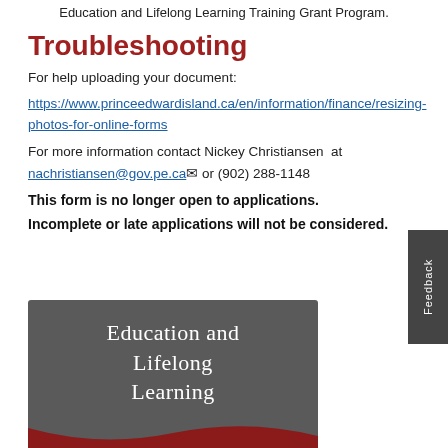Education and Lifelong Learning Training Grant Program.
Troubleshooting
For help uploading your document:
https://www.princeedwardisland.ca/en/information/finance/resizing-photos-for-online-forms
For more information contact Nickey Christiansen at nachristiansen@gov.pe.ca or (902) 288-1148
This form is no longer open to applications.
Incomplete or late applications will not be considered.
[Figure (logo): Education and Lifelong Learning logo — dark grey rectangle with white serif text and a red wave at the bottom]